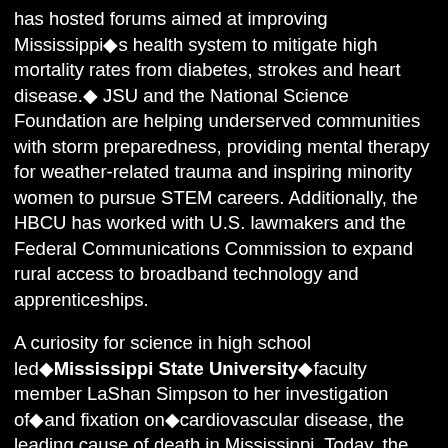has hosted forums aimed at improving Mississippi's health system to mitigate high mortality rates from diabetes, strokes and heart disease. JSU and the National Science Foundation are helping underserved communities with storm preparedness, providing mental therapy for weather-related trauma and inspiring minority women to pursue STEM careers. Additionally, the HBCU has worked with U.S. lawmakers and the Federal Communications Commission to expand rural access to broadband technology and apprenticeships.
A curiosity for science in high school led Mississippi State University faculty member LaShan Simpson to her investigation of and fixation on cardiovascular disease, the leading cause of death in Mississippi. Today, the bioengineering associate professor's passion has led to a patent-pending, living tissue 3-D model of a vascular artery that can provide cellular-level perspective in studying how to treat heart disease. Her innovations will help scientists improve knowledge of disease processes, cell response to mechanical and chemical stimuli, and potential treatments. While continuing to study the medical implications of the disease that's accountable for over a third of all deaths in the state, she also teaches her students it is necessary to consider socioeconomic factors such as income